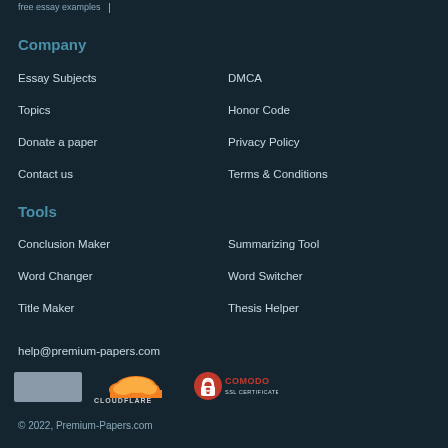free essay examples
Company
Essay Subjects
DMCA
Topics
Honor Code
Donate a paper
Privacy Policy
Contact us
Terms & Conditions
Tools
Conclusion Maker
Summarizing Tool
Word Changer
Word Switcher
Title Maker
Thesis Helper
help@premium-papers.com
[Figure (logo): Grey rectangle logo placeholder, Cloudflare logo, Comodo SSL Certificate logo]
© 2022, Premium-Papers.com